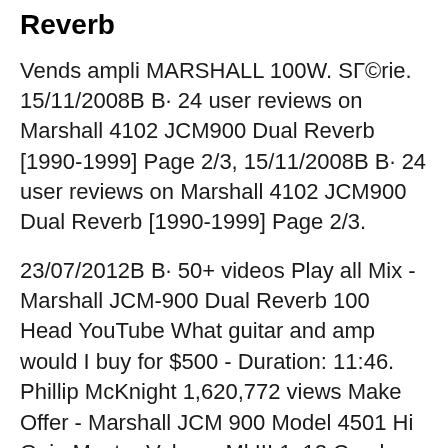Reverb
Vends ampli MARSHALL 100W. SГ©rie. 15/11/2008В В· 24 user reviews on Marshall 4102 JCM900 Dual Reverb [1990-1999] Page 2/3, 15/11/2008В В· 24 user reviews on Marshall 4102 JCM900 Dual Reverb [1990-1999] Page 2/3.
23/07/2012В В· 50+ videos Play all Mix - Marshall JCM-900 Dual Reverb 100 Head YouTube What guitar and amp would I buy for $500 - Duration: 11:46. Phillip McKnight 1,620,772 views Make Offer - Marshall JCM 900 Model 4501 Hi Gain Master Volume MkIII 1x12 Combo Serviced 1994 Marshall JCM 900 Model 4100 Hi Gain Dual Reverb 2x12